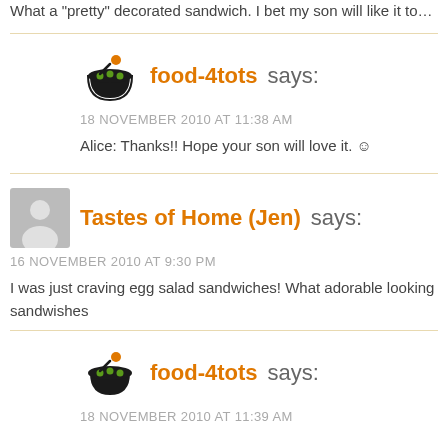What a "pretty" decorated sandwich. I bet my son will like it too. ☺
food-4tots says:
18 NOVEMBER 2010 AT 11:38 AM
Alice: Thanks!! Hope your son will love it. ☺
Tastes of Home (Jen) says:
16 NOVEMBER 2010 AT 9:30 PM
I was just craving egg salad sandwiches! What adorable looking sandwishes
food-4tots says:
18 NOVEMBER 2010 AT 11:39 AM